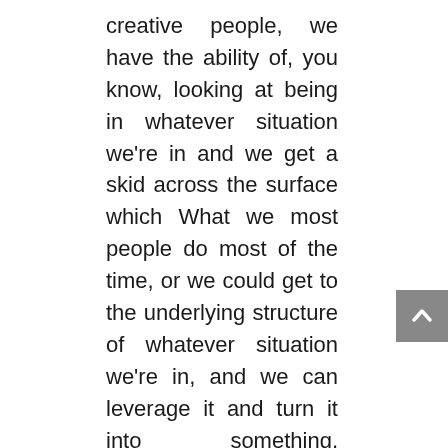creative people, we have the ability of, you know, looking at being in whatever situation we're in and we get a skid across the surface which What we most people do most of the time, or we could get to the underlying structure of whatever situation we're in, and we can leverage it and turn it into something, something more. So an alchemy network is really it's about, you know, very often, you might know lots of individuals, lots of people, but, you know, keeping relationships going takes time finding and reaching out to people who are potential clients, or potential referral sources or whatever it might be, or just people that you know, you could help if they knew that you existed. And and if they give